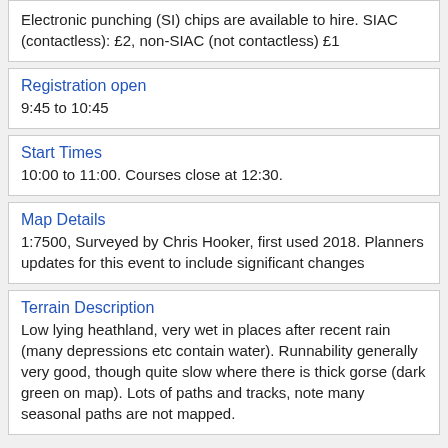Electronic punching (SI) chips are available to hire. SIAC (contactless): £2, non-SIAC (not contactless) £1
Registration open
9:45 to 10:45
Start Times
10:00 to 11:00. Courses close at 12:30.
Map Details
1:7500, Surveyed by Chris Hooker, first used 2018. Planners updates for this event to include significant changes
Terrain Description
Low lying heathland, very wet in places after recent rain (many depressions etc contain water). Runnability generally very good, though quite slow where there is thick gorse (dark green on map). Lots of paths and tracks, note many seasonal paths are not mapped.